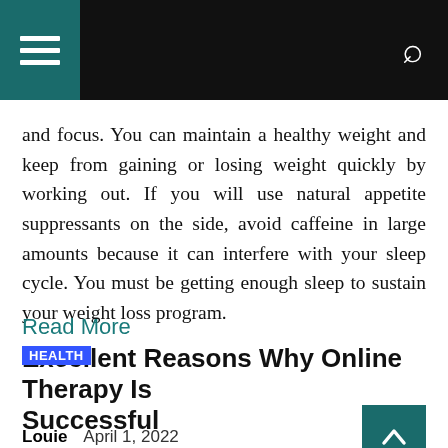Navigation bar with hamburger menu and search icon
and focus. You can maintain a healthy weight and keep from gaining or losing weight quickly by working out. If you will use natural appetite suppressants on the side, avoid caffeine in large amounts because it can interfere with your sleep cycle. You must be getting enough sleep to sustain your weight loss program.
Read More
Excellent Reasons Why Online Therapy Is Successful
Louie   April 1, 2022
There are many excellent reasons online therapy is successful. First, online therapy is not only affordable, but